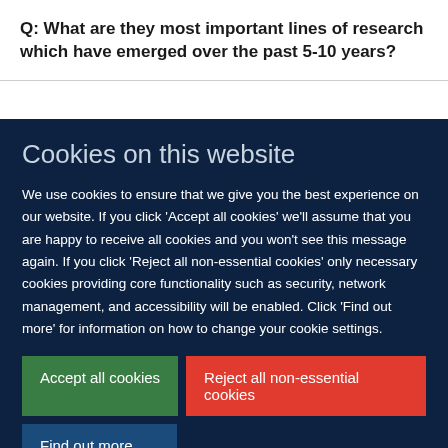Q: What are they most important lines of research which have emerged over the past 5-10 years?
Cookies on this website
We use cookies to ensure that we give you the best experience on our website. If you click 'Accept all cookies' we'll assume that you are happy to receive all cookies and you won't see this message again. If you click 'Reject all non-essential cookies' only necessary cookies providing core functionality such as security, network management, and accessibility will be enabled. Click 'Find out more' for information on how to change your cookie settings.
Accept all cookies
Reject all non-essential cookies
Find out more